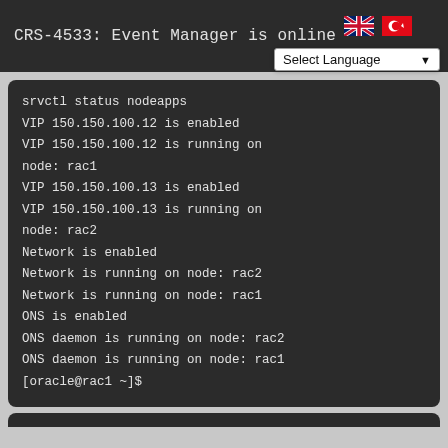CRS-4533: Event Manager is online
[Figure (screenshot): Terminal/console output showing srvctl status nodeapps command results including VIP, Network, and ONS status for rac1 and rac2 nodes]
srvctl status nodeapps
VIP 150.150.100.12 is enabled
VIP 150.150.100.12 is running on
node: rac1
VIP 150.150.100.13 is enabled
VIP 150.150.100.13 is running on
node: rac2
Network is enabled
Network is running on node: rac2
Network is running on node: rac1
ONS is enabled
ONS daemon is running on node: rac2
ONS daemon is running on node: rac1
[oracle@rac1 ~]$